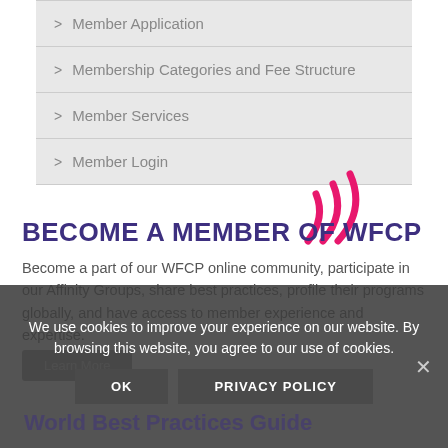Member Application
Membership Categories and Fee Structure
Member Services
Member Login
[Figure (logo): Pink wifi/signal arc icon]
BECOME A MEMBER OF WFCP
Become a part of our WFCP online community, participate in our Affinity Groups, share best practices, profile their programs globally, and have access to member experience and expertise.
We use cookies to improve your experience on our website. By browsing this website, you agree to our use of cookies.
OK    PRIVACY POLICY
World Best Practices Guide